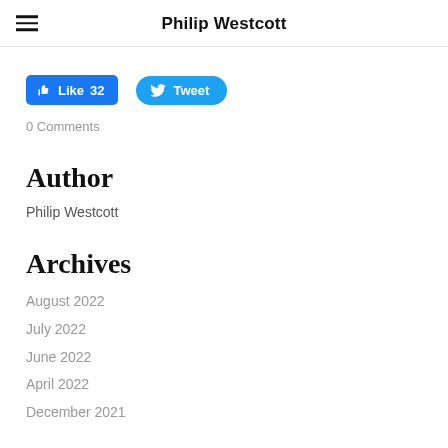Philip Westcott
[Figure (other): Facebook Like button (blue rectangle) showing thumbs up icon and 'Like 32', and Twitter Tweet button (blue rounded pill) showing bird icon and 'Tweet']
0 Comments
Author
Philip Westcott
Archives
August 2022
July 2022
June 2022
April 2022
December 2021